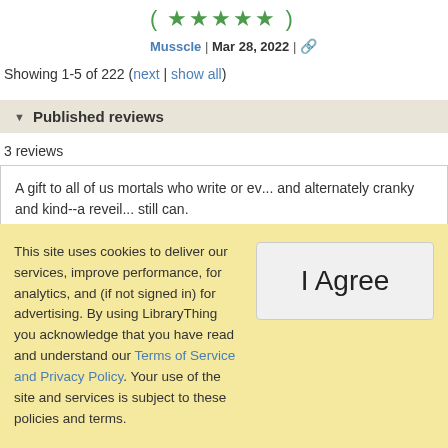( ★★★★★ )
Musscle | Mar 28, 2022 | 🔗
Showing 1-5 of 222 (next | show all)
▼ Published reviews
3 reviews
A gift to all of us mortals who write or ev... and alternately cranky and kind--a reveil... still can.
This site uses cookies to deliver our services, improve performance, for analytics, and (if not signed in) for advertising. By using LibraryThing you acknowledge that you have read and understand our Terms of Service and Privacy Policy. Your use of the site and services is subject to these policies and terms.
I Agree